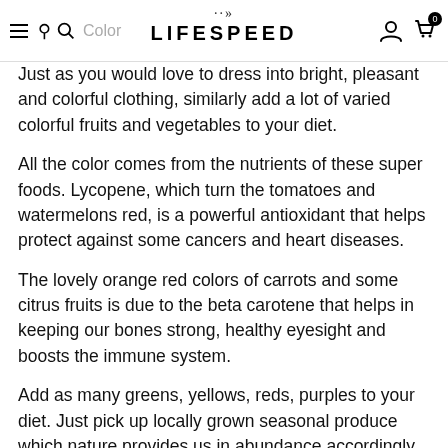LIFESPEED
Just as you would love to dress into bright, pleasant and colorful clothing, similarly add a lot of varied colorful fruits and vegetables to your diet.
All the color comes from the nutrients of these super foods. Lycopene, which turn the tomatoes and watermelons red, is a powerful antioxidant that helps protect against some cancers and heart diseases.
The lovely orange red colors of carrots and some citrus fruits is due to the beta carotene that helps in keeping our bones strong, healthy eyesight and boosts the immune system.
Add as many greens, yellows, reds, purples to your diet. Just pick up locally grown seasonal produce which nature provides us in abundance accordingly. Have at least 4-6 servings of vegetables and 2-3 servings of fruits every day.